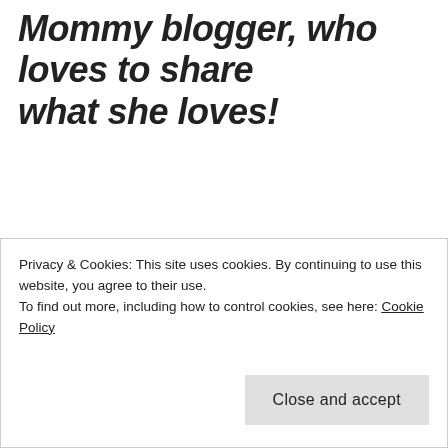Mommy blogger, who loves to share what she loves!
Reblog Feature:
Privacy & Cookies: This site uses cookies. By continuing to use this website, you agree to their use.
To find out more, including how to control cookies, see here: Cookie Policy
Close and accept